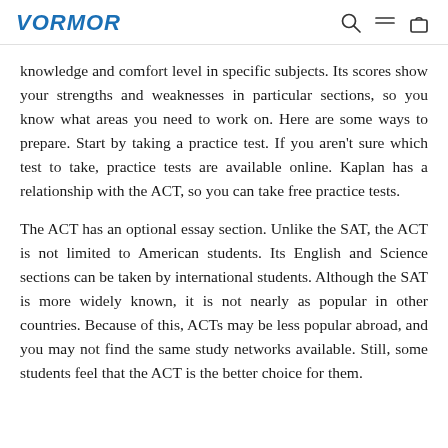VORMOR
knowledge and comfort level in specific subjects. Its scores show your strengths and weaknesses in particular sections, so you know what areas you need to work on. Here are some ways to prepare. Start by taking a practice test. If you aren't sure which test to take, practice tests are available online. Kaplan has a relationship with the ACT, so you can take free practice tests.
The ACT has an optional essay section. Unlike the SAT, the ACT is not limited to American students. Its English and Science sections can be taken by international students. Although the SAT is more widely known, it is not nearly as popular in other countries. Because of this, ACTs may be less popular abroad, and you may not find the same study networks available. Still, some students feel that the ACT is the better choice for them.